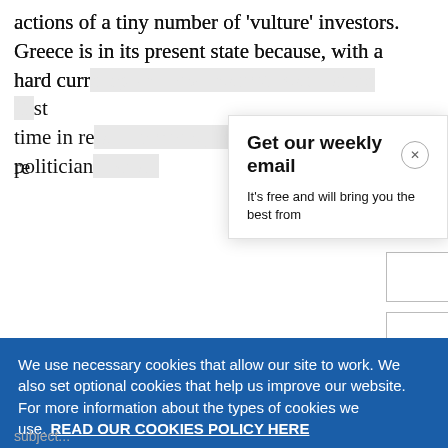actions of a tiny number of 'vulture' investors. Greece is in its present state because, with a hard currency and low interest rates for the first time in recent memory, consumers and politicians...
Get our weekly email
It's free and will bring you the best from
We use necessary cookies that allow our site to work. We also set optional cookies that help us improve our website. For more information about the types of cookies we use. READ OUR COOKIES POLICY HERE
COOKIE SETTINGS
ALLOW ALL COOKIES